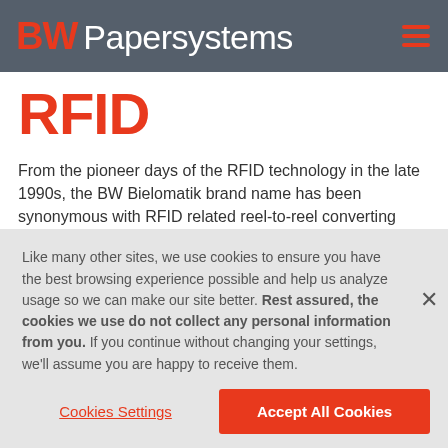BW Papersystems
RFID
From the pioneer days of the RFID technology in the late 1990s, the BW Bielomatik brand name has been synonymous with RFID related reel-to-reel converting technology.
We offer the complete range of manufacturing process solutions
Like many other sites, we use cookies to ensure you have the best browsing experience possible and help us analyze usage so we can make our site better. Rest assured, the cookies we use do not collect any personal information from you. If you continue without changing your settings, we'll assume you are happy to receive them.
Cookies Settings | Accept All Cookies